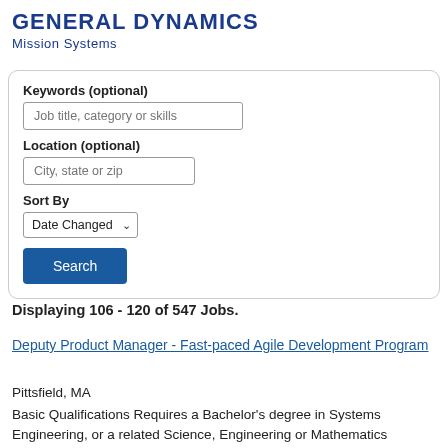[Figure (logo): General Dynamics Mission Systems logo with bold blue uppercase text 'GENERAL DYNAMICS' and subtitle 'Mission Systems']
Keywords (optional)
Job title, category or skills
Location (optional)
City, state or zip
Sort By
Date Changed
Search
Displaying 106 - 120 of 547 Jobs.
Deputy Product Manager - Fast-paced Agile Development Program
Pittsfield, MA
Basic Qualifications Requires a Bachelor's degree in Systems Engineering, or a related Science, Engineering or Mathematics